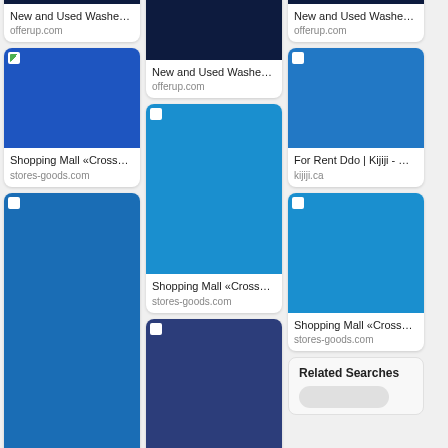[Figure (screenshot): Grid of image search results with 3 columns showing blue-toned placeholder images with titles and source URLs]
New and Used Washe... offerup.com
New and Used Washe... offerup.com
Shopping Mall «Cross... stores-goods.com
For Rent Ddo | Kijiji - ... kijiji.ca
Shopping Mall «Cross... stores-goods.com
Todd drummond oklah... mattmixer.com
Shopping Mall «Cross... stores-goods.com
Related Searches